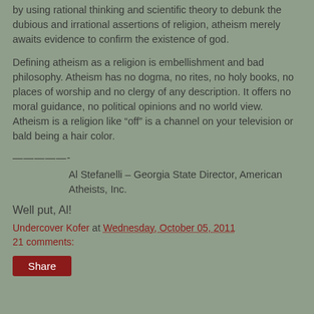by using rational thinking and scientific theory to debunk the dubious and irrational assertions of religion, atheism merely awaits evidence to confirm the existence of god.
Defining atheism as a religion is embellishment and bad philosophy. Atheism has no dogma, no rites, no holy books, no places of worship and no clergy of any description. It offers no moral guidance, no political opinions and no world view. Atheism is a religion like “off” is a channel on your television or bald being a hair color.
—————————-
Al Stefanelli – Georgia State Director, American Atheists, Inc.
Well put, Al!
Undercover Kofer at Wednesday, October 05, 2011
21 comments: